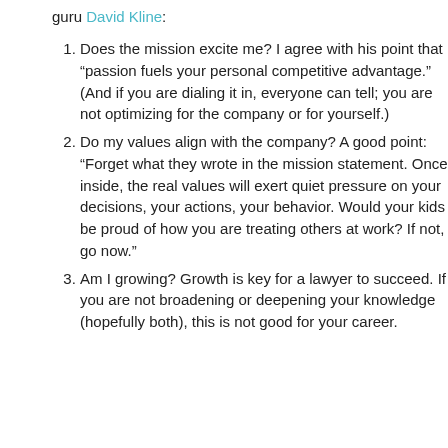guru David Kline:
Does the mission excite me? I agree with his point that “passion fuels your personal competitive advantage.” (And if you are dialing it in, everyone can tell; you are not optimizing for the company or for yourself.)
Do my values align with the company? A good point: “Forget what they wrote in the mission statement. Once inside, the real values will exert quiet pressure on your decisions, your actions, your behavior. Would your kids be proud of how you are treating others at work? If not, go now.”
Am I growing? Growth is key for a lawyer to succeed. If you are not broadening or deepening your knowledge (hopefully both), this is not good for your career.